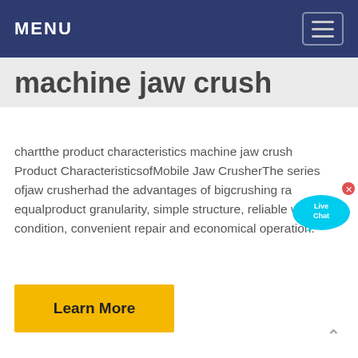MENU
machine jaw crush
chartthe product characteristics machine jaw crush Product CharacteristicsofMobile Jaw CrusherThe series ofjaw crusherhad the advantages of bigcrushing ra equalproduct granularity, simple structure, reliable working condition, convenient repair and economical operation.
[Figure (illustration): Live Chat bubble overlay in top-right area]
Learn More